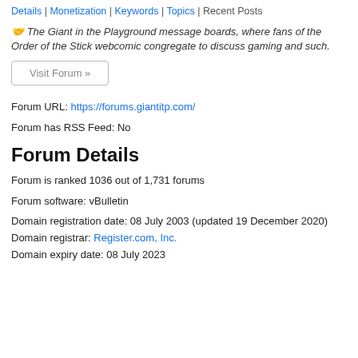Details | Monetization | Keywords | Topics | Recent Posts
🤝 The Giant in the Playground message boards, where fans of the Order of the Stick webcomic congregate to discuss gaming and such.
Visit Forum »
Forum URL: https://forums.giantitp.com/
Forum has RSS Feed: No
Forum Details
Forum is ranked 1036 out of 1,731 forums
Forum software: vBulletin
Domain registration date: 08 July 2003 (updated 19 December 2020)
Domain registrar: Register.com, Inc.
Domain expiry date: 08 July 2023